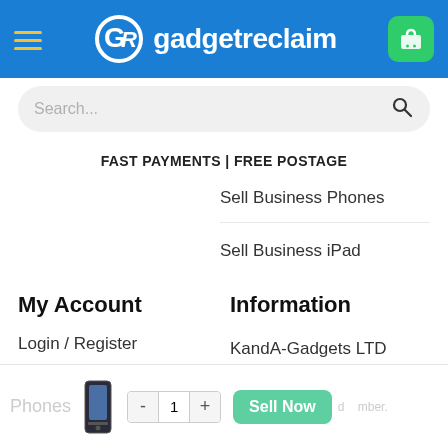[Figure (screenshot): GadgetReclaim website header with logo, hamburger menu, and green cart button on blue background]
[Figure (screenshot): Search bar with placeholder text Search... and magnifying glass icon]
FAST PAYMENTS | FREE POSTAGE
Sell Business Phones
Sell Business iPad
My Account
Information
Login / Register
My orders
Buy Refurbished
KandA-Gadgets LTD
PO Box 1428
Sunderland
SR5 9RX